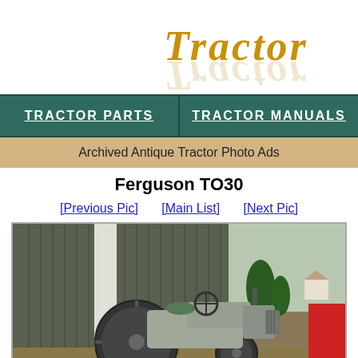TRACTOR
TRACTOR PARTS  |  TRACTOR MANUALS
Archived Antique Tractor Photo Ads
Ferguson TO30
[Previous Pic]  [Main List]  [Next Pic]
[Figure (photo): A grey Ferguson TO30 tractor parked in front of a metal building with corrugated siding and some evergreen trees visible. A red implement is partially visible on the right side.]